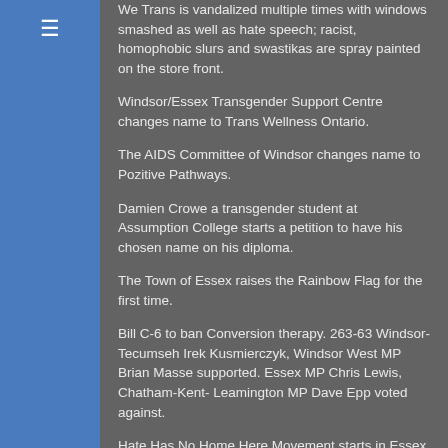We Trans is vandalized multiple times with windows smashed as well as hate speech; racist, homophobic slurs and swastikas are spray painted on the store front.
Windsor/Essex Transgender Support Centre changes name to Trans Wellness Ontario.
The AIDS Committee of Windsor changes name to Pozitive Pathways.
Damien Crowe a transgender student at Assumption College starts a petition to have his chosen name on his diploma.
The Town of Essex raises the Rainbow Flag for the first time.
Bill C-6 to ban Conversion therapy. 263-63 Windsor-Tecumseh Irek Kusmierczyk, Windsor West MP Brian Masse supported. Essex MP Chris Lewis, Chatham-Kent- Leamington MP Dave Epp voted against.
Hate Has No Home Here Movement starts in Essex County by Laura Hasulo. The concept started with signs on people's lawns.